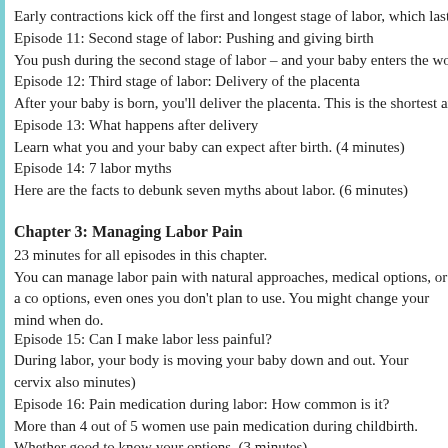Early contractions kick off the first and longest stage of labor, which lasts u
Episode 11: Second stage of labor: Pushing and giving birth
You push during the second stage of labor – and your baby enters the world.
Episode 12: Third stage of labor: Delivery of the placenta
After your baby is born, you'll deliver the placenta. This is the shortest and l
Episode 13: What happens after delivery
Learn what you and your baby can expect after birth. (4 minutes)
Episode 14: 7 labor myths
Here are the facts to debunk seven myths about labor. (6 minutes)
Chapter 3: Managing Labor Pain
23 minutes for all episodes in this chapter.
You can manage labor pain with natural approaches, medical options, or a co options, even ones you don't plan to use. You might change your mind when do.
Episode 15: Can I make labor less painful?
During labor, your body is moving your baby down and out. Your cervix also minutes)
Episode 16: Pain medication during labor: How common is it?
More than 4 out of 5 women use pain medication during childbirth. Whether good to know your options. (3 minutes)
Episode 17: Natural pain relief: Breathing techniques
Breathing is a simple but effective natural way to help manage labor pain, by